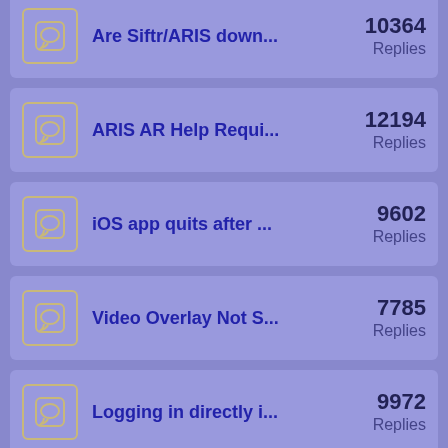Are Siftr/ARIS down... 10364 Replies
ARIS AR Help Requi... 12194 Replies
iOS app quits after ... 9602 Replies
Video Overlay Not S... 7785 Replies
Logging in directly i... 9972 Replies
Tutorial Videos Not ... 8825 Replies